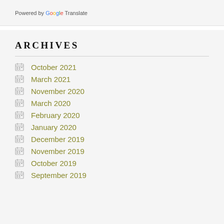Powered by Google Translate
ARCHIVES
October 2021
March 2021
November 2020
March 2020
February 2020
January 2020
December 2019
November 2019
October 2019
September 2019